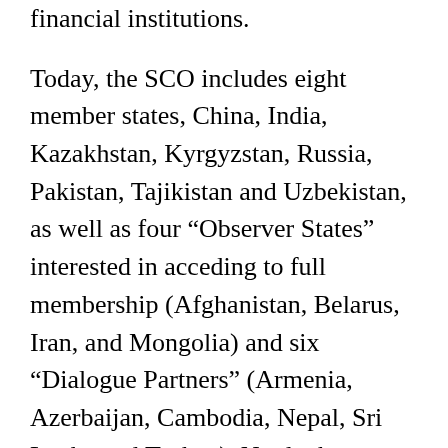financial institutions.
Today, the SCO includes eight member states, China, India, Kazakhstan, Kyrgyzstan, Russia, Pakistan, Tajikistan and Uzbekistan, as well as four “Observer States” interested in acceding to full membership (Afghanistan, Belarus, Iran, and Mongolia) and six “Dialogue Partners” (Armenia, Azerbaijan, Cambodia, Nepal, Sri Lanka and Turkey). No doubt a serious U.S. “pivot to Asia” to challenge China’s increasing influence over capital markets and advantageous investment opportunities will include more than the future construction of a fleet of Australian submarines.